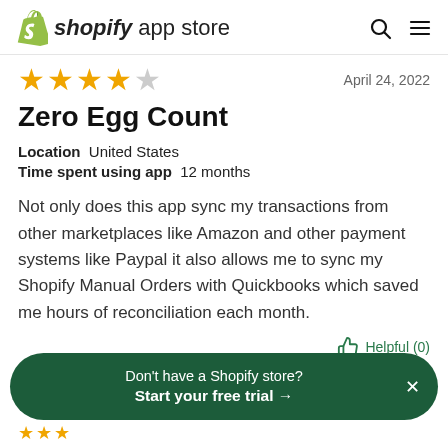shopify app store
★★★★☆  April 24, 2022
Zero Egg Count
Location  United States
Time spent using app  12 months
Not only does this app sync my transactions from other marketplaces like Amazon and other payment systems like Paypal it also allows me to sync my Shopify Manual Orders with Quickbooks which saved me hours of reconciliation each month.
Helpful (0)
Don't have a Shopify store? Start your free trial →